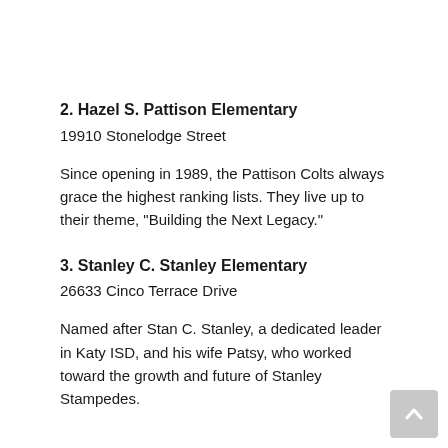2. Hazel S. Pattison Elementary
19910 Stonelodge Street
Since opening in 1989, the Pattison Colts always grace the highest ranking lists. They live up to their theme, "Building the Next Legacy."
3. Stanley C. Stanley Elementary
26633 Cinco Terrace Drive
Named after Stan C. Stanley, a dedicated leader in Katy ISD, and his wife Patsy, who worked toward the growth and future of Stanley Stampedes.